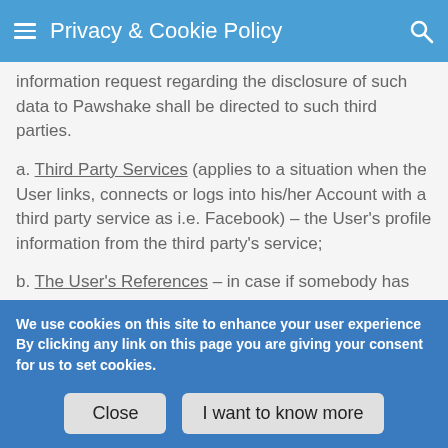Privacy & Cookie Policy
information request regarding the disclosure of such data to Pawshake shall be directed to such third parties.
a. Third Party Services (applies to a situation when the User links, connects or logs into his/her Account with a third party service as i.e. Facebook) – the User's profile information from the third party's service;
b. The User's References – in case if somebody has written a review for a User, the review will be published on the User's
We use cookies on this site to enhance your user experience
By clicking any link on this page you are giving your consent for us to set cookies.